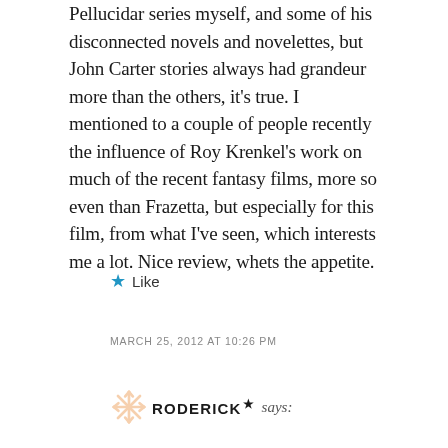Pellucidar series myself, and some of his disconnected novels and novelettes, but John Carter stories always had grandeur more than the others, it's true. I mentioned to a couple of people recently the influence of Roy Krenkel's work on much of the recent fantasy films, more so even than Frazetta, but especially for this film, from what I've seen, which interests me a lot. Nice review, whets the appetite.
★ Like
MARCH 25, 2012 AT 10:26 PM
RODERICK★ says: